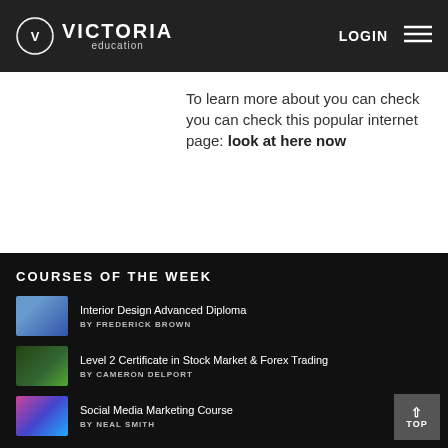VICTORIA education | LOGIN
To learn more about you can check you can check this popular internet page: look at here now
COURSES OF THE WEEK
Interior Design Advanced Diploma BY FREDERICK BROWN
Level 2 Certificate in Stock Market & Forex Trading BY CAMERON DELPORT
Social Media Marketing Course BY NEAL SMITH